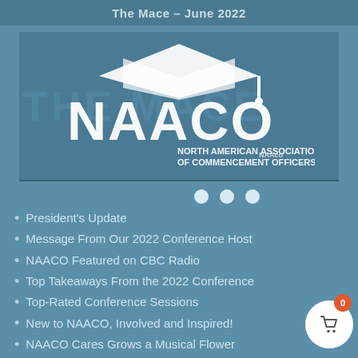The Mace – June 2022
[Figure (logo): NAACO logo with graduation cap above large white NAACO text and 'NORTH AMERICAN ASSOCIATION OF COMMENCEMENT OFFICERS' subtitle, overlaid on a banner with 'THE MACE' watermark text]
President's Update
Message From Our 2022 Conference Host
NAACO Featured on CBC Radio
Top Takeaways From the 2022 Conference
Top-Rated Conference Sessions
New to NAACO, Involved and Inspired!
NAACO Cares Grows a Musical Flower
The Senses Came Alive in Philadelphia